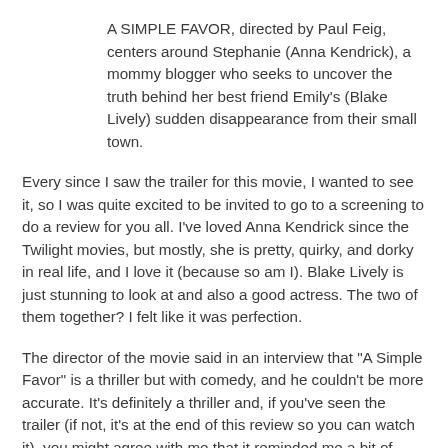A SIMPLE FAVOR, directed by Paul Feig, centers around Stephanie (Anna Kendrick), a mommy blogger who seeks to uncover the truth behind her best friend Emily's (Blake Lively) sudden disappearance from their small town.
Every since I saw the trailer for this movie, I wanted to see it, so I was quite excited to be invited to go to a screening to do a review for you all. I've loved Anna Kendrick since the Twilight movies, but mostly, she is pretty, quirky, and dorky in real life, and I love it (because so am I). Blake Lively is just stunning to look at and also a good actress. The two of them together? I felt like it was perfection.
The director of the movie said in an interview that "A Simple Favor" is a thriller but with comedy, and he couldn't be more accurate. It's definitely a thriller and, if you've seen the trailer (if not, it's at the end of this review so you can watch it), you might agree with me that it reminded me a bit of "Gone Girl". As I watched the movie, it really confirmed it for me. Although, I admit I've never seen "Gone Girl", I've only read the book, but you get what I mean. They do have you...